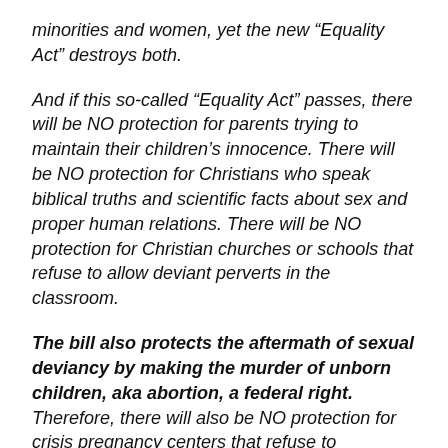minorities and women, yet the new “Equality Act” destroys both.
And if this so-called “Equality Act” passes, there will be NO protection for parents trying to maintain their children’s innocence. There will be NO protection for Christians who speak biblical truths and scientific facts about sex and proper human relations. There will be NO protection for Christian churches or schools that refuse to allow deviant perverts in the classroom.
The bill also protects the aftermath of sexual deviancy by making the murder of unborn children, aka abortion, a federal right. Therefore, there will also be NO protection for crisis pregnancy centers that refuse to recommend abortions, or for anyone to call